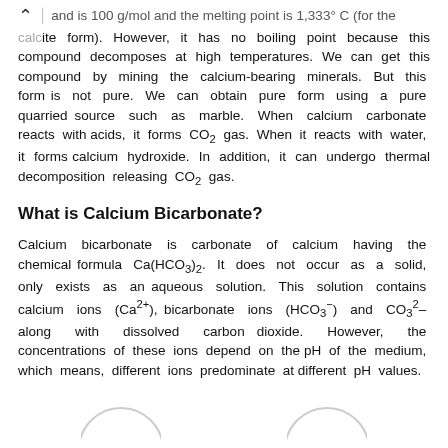and is 100 g/mol and the melting point is 1,339 °C (for the calcite form).
form). However, it has no boiling point because this compound decomposes at high temperatures. We can get this compound by mining the calcium-bearing minerals. But this form is not pure. We can obtain pure form using a pure quarried source such as marble. When calcium carbonate reacts with acids, it forms CO₂ gas. When it reacts with water, it forms calcium hydroxide. In addition, it can undergo thermal decomposition releasing CO₂ gas.
What is Calcium Bicarbonate?
Calcium bicarbonate is carbonate of calcium having the chemical formula Ca(HCO₃)₂. It does not occur as a solid, only exists as an aqueous solution. This solution contains calcium ions (Ca²⁺), bicarbonate ions (HCO₃⁻) and CO₃²– along with dissolved carbon dioxide. However, the concentrations of these ions depend on the pH of the medium, which means, different ions predominate at different pH values.
[Figure (illustration): Two partial circle/molecular diagrams at the bottom of the page (cut off).]